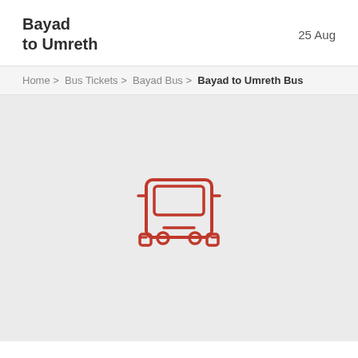Bayad to Umreth
25 Aug
Home > Bus Tickets > Bayad Bus > Bayad to Umreth Bus
[Figure (illustration): Red outline bus icon (front view) on light grey background]